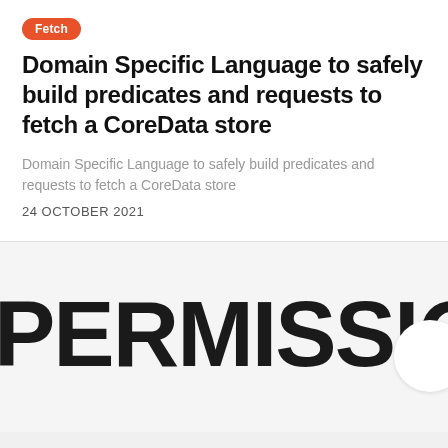Fetch
Domain Specific Language to safely build predicates and requests to fetch a CoreData store
Domain Specific Language to safely build predicates and requests to fetch a CoreData store
24 OCTOBER 2021
[Figure (other): Large bold text reading 'PERMISSION' with a partial white circle overlapping at the right edge, on a light grey background]